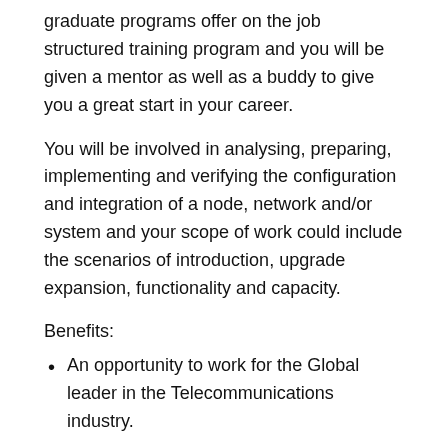graduate programs offer on the job structured training program and you will be given a mentor as well as a buddy to give you a great start in your career.
You will be involved in analysing, preparing, implementing and verifying the configuration and integration of a node, network and/or system and your scope of work could include the scenarios of introduction, upgrade expansion, functionality and capacity.
Benefits:
An opportunity to work for the Global leader in the Telecommunications industry.
Continuous learning and development.
On the job training and mentorship programs provided by senior experts in the industry.